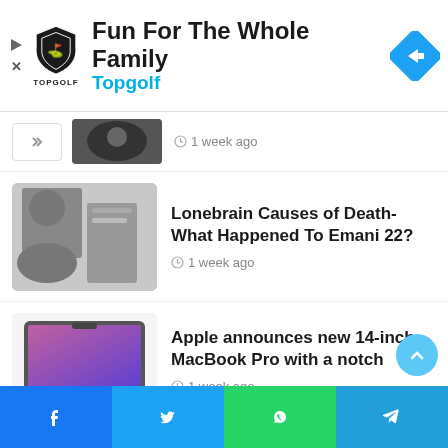[Figure (screenshot): Topgolf advertisement banner with shield logo, text 'Fun For The Whole Family', blue 'Topgolf' subtitle, and blue navigation arrow icon on right]
1 week ago (partial item with thumbnail)
Lonebrain Causes of Death- What Happened To Emani 22? · 1 week ago
Apple announces new 14-inch MacBook Pro with a notch · 1 week ago
Bangladesh vs England live Score- Watch free Live Tv ( Ban vs Eng) · 1 week ago
[Figure (screenshot): Bottom social share navigation bar with Facebook, Twitter, WhatsApp, and Telegram icons]